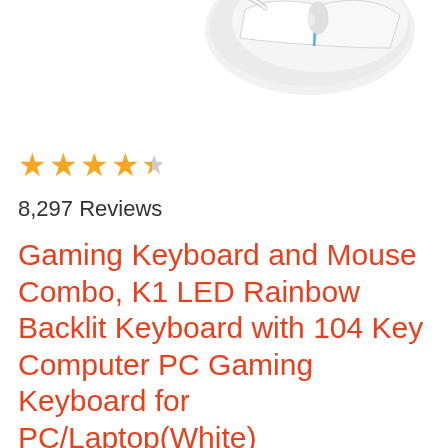[Figure (photo): Partial view of a white gaming mouse with blue accent, shown from above on a white background]
★★★★½ 8,297 Reviews
Gaming Keyboard and Mouse Combo, K1 LED Rainbow Backlit Keyboard with 104 Key Computer PC Gaming Keyboard for PC/Laptop(White)